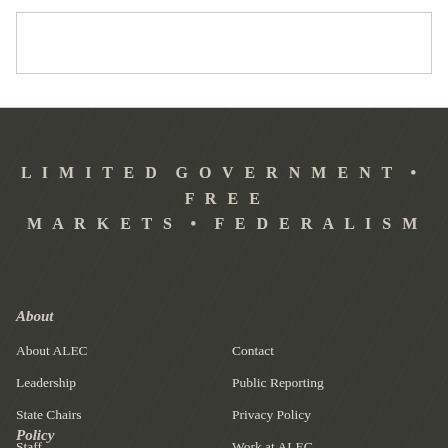LIMITED GOVERNMENT • FREE MARKETS • FEDERALISM
About
About ALEC
Leadership
State Chairs
Staff
Alumni
Contact
Public Reporting
Privacy Policy
Work at ALEC
Policy